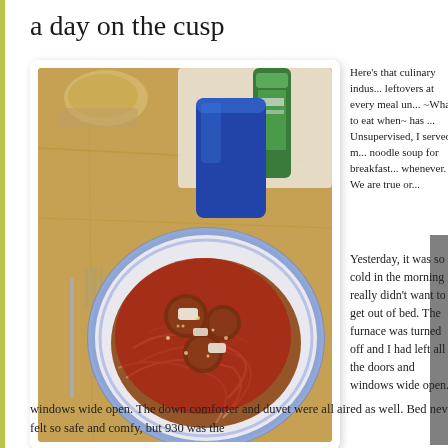a day on the cusp
[Figure (photo): A plate of spaghetti with meatballs and tomato sauce, topped with grated cheese, on a blue and white patterned plate. A blue plastic cup, a bottle of seasoning, bread, and a fork are visible in the background on a wooden table.]
Here's that culinary indus... leftovers at every meal un... ~What to eat when~ has ... Unsupervised, I served m... noodle soup for breakfast... whenever. We are true or...
[Figure (photo): Partial view of a second photo on the right edge of the page, appears to show a dark/grey scene.]
Yesterday, it was so cold in the morning I really didn't want to get out of bed. The furnace was turned off and I had left all the doors and windows wide open. The down comforter and duvet were all aired as well. Bed never felt so safe and comfy, but 930 was the